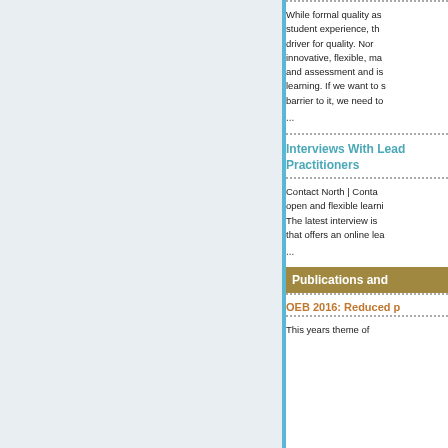While formal quality as... student experience, th... driver for quality. Nor... innovative, flexible, ma... and assessment and is... learning. If we want to s... barrier to it, we need to...
...
Interviews With Lead Practitioners
Contact North | Conta... open and flexible learni... The latest interview is ... that offers an online lea...
...
Publications and
OEB 2016: Reduced p
This years theme of...